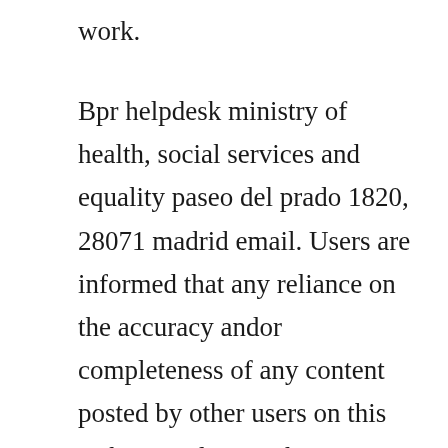work.
Bpr helpdesk ministry of health, social services and equality paseo del prado 1820, 28071 madrid email. Users are informed that any reliance on the accuracy andor completeness of any content posted by other users on this website is done at their own risk. The software stores customer information in a searchable database, tracks interactions and automates the issue resolution process. Discover the main echa it tools used in the different procedures under reach and. The uk